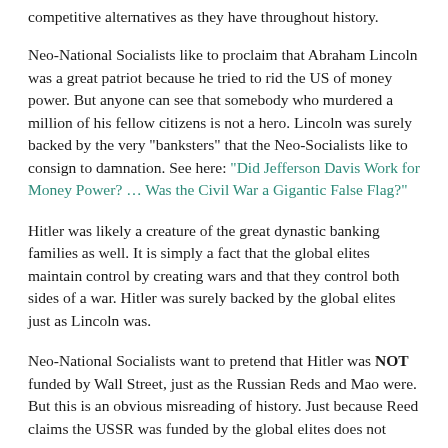competitive alternatives as they have throughout history.
Neo-National Socialists like to proclaim that Abraham Lincoln was a great patriot because he tried to rid the US of money power. But anyone can see that somebody who murdered a million of his fellow citizens is not a hero. Lincoln was surely backed by the very "banksters" that the Neo-Socialists like to consign to damnation. See here: "Did Jefferson Davis Work for Money Power? … Was the Civil War a Gigantic False Flag?"
Hitler was likely a creature of the great dynastic banking families as well. It is simply a fact that the global elites maintain control by creating wars and that they control both sides of a war. Hitler was surely backed by the global elites just as Lincoln was.
Neo-National Socialists want to pretend that Hitler was NOT funded by Wall Street, just as the Russian Reds and Mao were. But this is an obvious misreading of history. Just because Reed claims the USSR was funded by the global elites does not mean